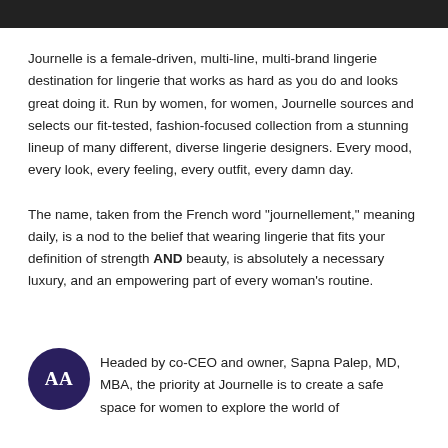[Figure (photo): Dark/black image bar at top of page, cropped photo]
Journelle is a female-driven, multi-line, multi-brand lingerie destination for lingerie that works as hard as you do and looks great doing it. Run by women, for women, Journelle sources and selects our fit-tested, fashion-focused collection from a stunning lineup of many different, diverse lingerie designers. Every mood, every look, every feeling, every outfit, every damn day.
The name, taken from the French word "journellement," meaning daily, is a nod to the belief that wearing lingerie that fits your definition of strength AND beauty, is absolutely a necessary luxury, and an empowering part of every woman's routine.
Headed by co-CEO and owner, Sapna Palep, MD, MBA, the priority at Journelle is to create a safe space for women to explore the world of